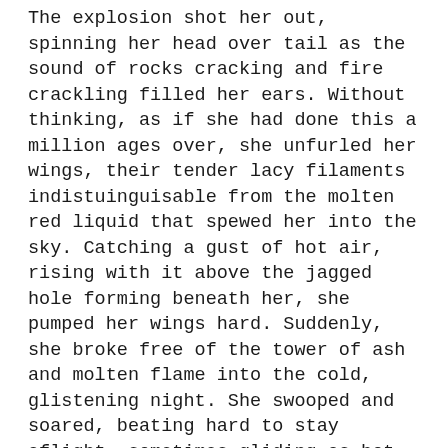The explosion shot her out, spinning her head over tail as the sound of rocks cracking and fire crackling filled her ears. Without thinking, as if she had done this a million ages over, she unfurled her wings, their tender lacy filaments indistuinguisable from the molten red liquid that spewed her into the sky. Catching a gust of hot air, rising with it above the jagged hole forming beneath her, she pumped her wings hard. Suddenly, she broke free of the tower of ash and molten flame into the cold, glistening night. She swooped and soared, beating hard to stay aflight, sometimes gliding as hot and cold slid against one another under the starry sky, the volcanic heat meeting the icy air which blew off the glacier that had so long capped her molten home.
But she grew cold, and her young wings grew tired. Circling around,lower and lower, perhaps it was the flames reflected in the glistening surface that drew her, an illusion of warmth and safety.